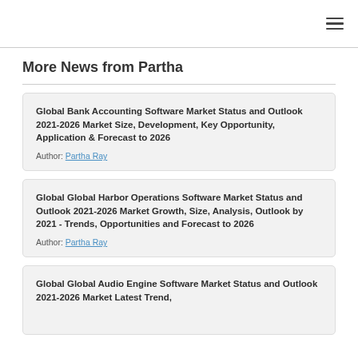≡ (hamburger menu icon)
More News from Partha
Global Bank Accounting Software Market Status and Outlook 2021-2026 Market Size, Development, Key Opportunity, Application & Forecast to 2026
Author: Partha Ray
Global Global Harbor Operations Software Market Status and Outlook 2021-2026 Market Growth, Size, Analysis, Outlook by 2021 - Trends, Opportunities and Forecast to 2026
Author: Partha Ray
Global Global Audio Engine Software Market Status and Outlook 2021-2026 Market Latest Trend,